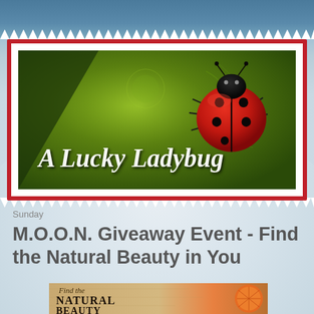[Figure (logo): A Lucky Ladybug blog banner with a red ladybug on green textured background with script text 'A Lucky Ladybug']
Sunday
M.O.O.N. Giveaway Event - Find the Natural Beauty in You
[Figure (illustration): Find the Natural Beauty promotional image with decorative text on wood/parchment background with orange slice]